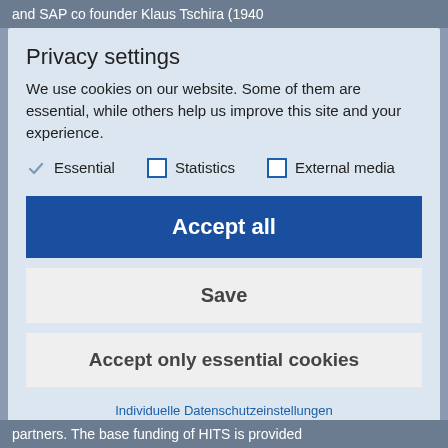and SAP co founder Klaus Tschira (1940
Privacy settings
We use cookies on our website. Some of them are essential, while others help us improve this site and your experience.
✓ Essential   ☐ Statistics   ☐ External media
Accept all
Save
Accept only essential cookies
Individuelle Datenschutzeinstellungen
Cookie-Details | Datenschutzerklärung
partners. The base funding of HITS is provided